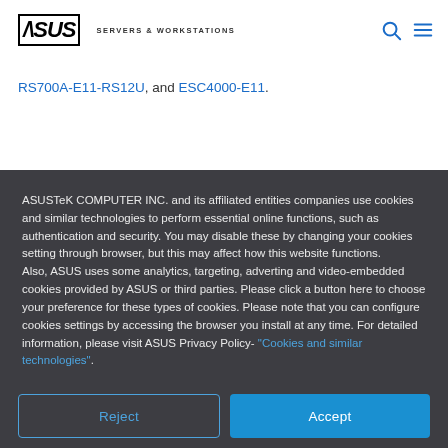ASUS SERVERS & WORKSTATIONS
RS700A-E11-RS12U, and ESC4000-E11.
ASUSTeK COMPUTER INC. and its affiliated entities companies use cookies and similar technologies to perform essential online functions, such as authentication and security. You may disable these by changing your cookies setting through browser, but this may affect how this website functions.
Also, ASUS uses some analytics, targeting, adverting and video-embedded cookies provided by ASUS or third parties. Please click a button here to choose your preference for these types of cookies. Please note that you can configure cookies settings by accessing the browser you install at any time. For detailed information, please visit ASUS Privacy Policy- "Cookies and similar technologies".